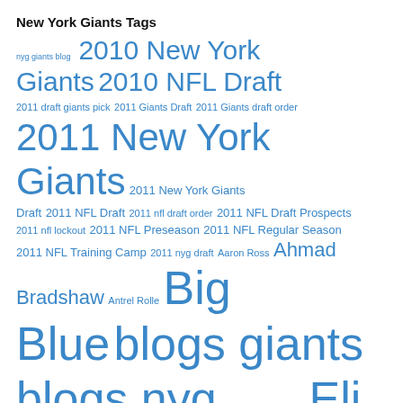New York Giants Tags
2010 New York Giants 2010 NFL Draft 2011 draft giants pick 2011 Giants Draft 2011 Giants draft order 2011 New York Giants 2011 New York Giants Draft 2011 NFL Draft 2011 nfl draft order 2011 NFL Draft Prospects 2011 nfl lockout 2011 NFL Preseason 2011 NFL Regular Season 2011 NFL Training Camp 2011 nyg draft Aaron Ross Ahmad Bradshaw Antrel Rolle Big Blue blogs giants blogs nyg Brandon Jacobs Eli Manning Ernie Accorsi Football football giants blog G-Men giants blog Giants Stadium